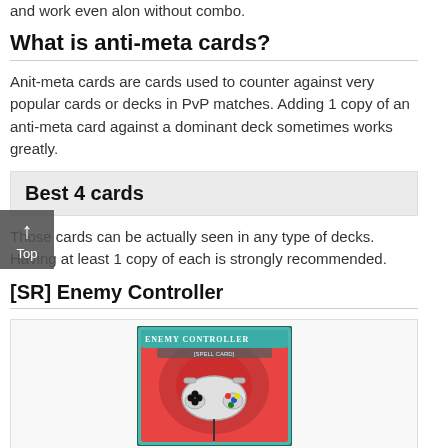and work even alon without combo.
What is anti-meta cards?
Anit-meta cards are cards used to counter against very popular cards or decks in PvP matches. Adding 1 copy of an anti-meta card against a dominant deck sometimes works greatly.
Best 4 cards
Those cards can be actually seen in any type of decks. Having at least 1 copy of each is strongly recommended.
[SR] Enemy Controller
[Figure (illustration): Enemy Controller Yu-Gi-Oh spell card featuring a game controller illustration]